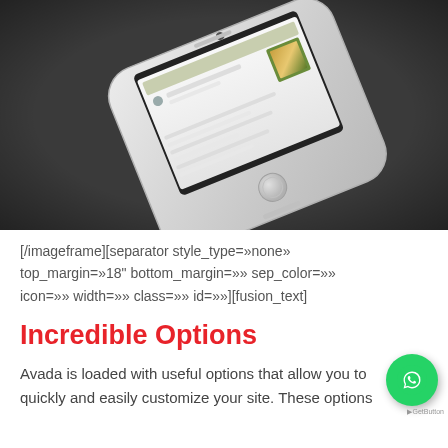[Figure (photo): A white iPhone 5s lying at an angle on a dark gray background, with a food/restaurant app visible on the screen.]
[/imageframe][separator style_type=»none» top_margin=»18" bottom_margin=»» sep_color=»» icon=»» width=»» class=»» id=»»][fusion_text]
Incredible Options
Avada is loaded with useful options that allow you to quickly and easily customize your site. These options